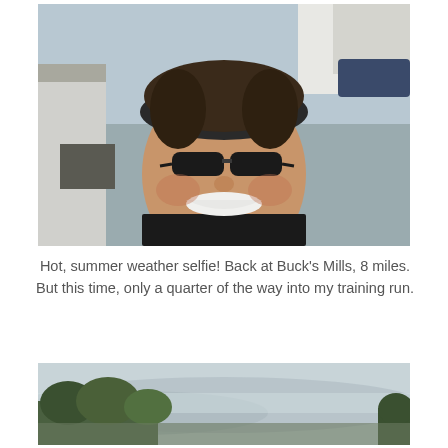[Figure (photo): Outdoor selfie of a person wearing dark sunglasses and a dark headband, smiling broadly. Background shows a street with white buildings and parked cars on a cloudy day.]
Hot, summer weather selfie! Back at Buck's Mills, 8 miles. But this time, only a quarter of the way into my training run.
[Figure (photo): Misty outdoor landscape photo showing green trees and shrubs in the foreground with a hazy, foggy view of hills or sea in the background.]